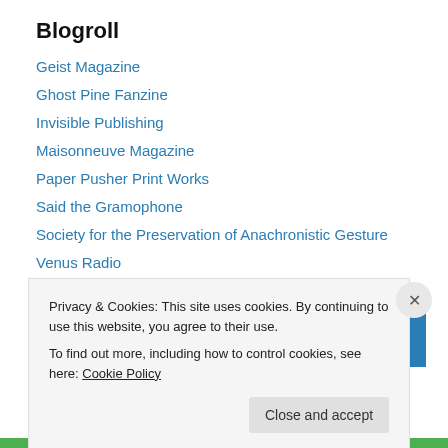Blogroll
Geist Magazine
Ghost Pine Fanzine
Invisible Publishing
Maisonneuve Magazine
Paper Pusher Print Works
Said the Gramophone
Society for the Preservation of Anachronistic Gesture
Venus Radio
[Figure (other): Featured On banner with blue background and circular logo placeholder and text FEATURED ON]
Privacy & Cookies: This site uses cookies. By continuing to use this website, you agree to their use.
To find out more, including how to control cookies, see here: Cookie Policy
Close and accept